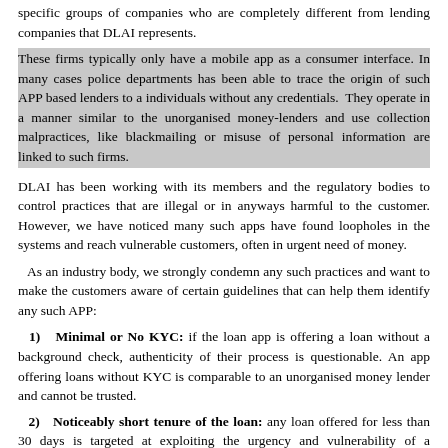specific groups of companies who are completely different from lending companies that DLAI represents.
These firms typically only have a mobile app as a consumer interface. In many cases police departments has been able to trace the origin of such APP based lenders to a individuals without any credentials. They operate in a manner similar to the unorganised money-lenders and use collection malpractices, like blackmailing or misuse of personal information are linked to such firms.
DLAI has been working with its members and the regulatory bodies to control practices that are illegal or in anyways harmful to the customer. However, we have noticed many such apps have found loopholes in the systems and reach vulnerable customers, often in urgent need of money.
As an industry body, we strongly condemn any such practices and want to make the customers aware of certain guidelines that can help them identify any such APP:
1) Minimal or No KYC: if the loan app is offering a loan without a background check, authenticity of their process is questionable. An app offering loans without KYC is comparable to an unorganised money lender and cannot be trusted.
2) Noticeably short tenure of the loan: any loan offered for less than 30 days is targeted at exploiting the urgency and vulnerability of a consumer. They typically charge a very high interest rate and equally high fees for prepayment in addition to other charges.